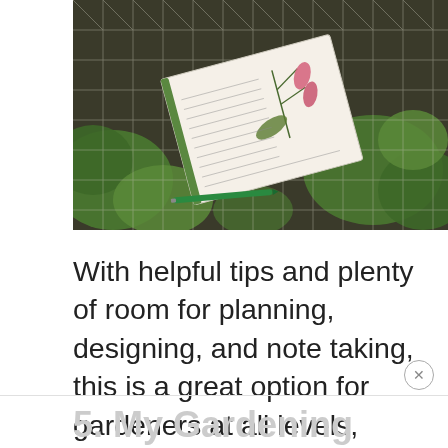[Figure (photo): A gardening handbook/journal with botanical illustrations of drooping pink flowers, lying on dark soil with green plants and chicken wire fencing visible. A green pen is nearby.]
With helpful tips and plenty of room for planning, designing, and note taking, this is a great option for gardeners at all levels, including beginners.
“My Gardening Handbook” by Suck UK is available with a green or black cover from Amazon.
5. My Gardening